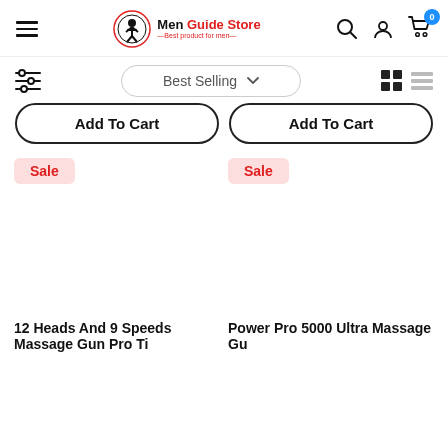[Figure (screenshot): Men Guide Store e-commerce website header with hamburger menu, logo, search icon, account icon, and cart icon showing 0 items]
[Figure (screenshot): Filter bar with sliders icon, Best Selling dropdown, grid view and list view icons]
Add To Cart
Add To Cart
Sale
Sale
12 Heads And 9 Speeds Massage Gun Pro Ti...
Power Pro 5000 Ultra Massage Gu...